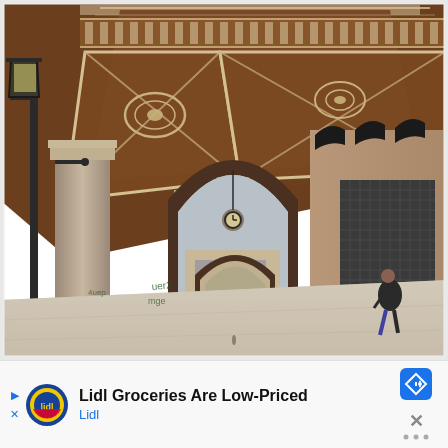[Figure (photo): Indoor photograph of a classical Italian arcade/portico (likely Bologna, Italy). The scene shows an elegant covered walkway with richly decorated coffered ceiling in brown/terracotta tones with ornate cream-white stucco molding forming geometric and floral patterns. On the left is a large antique iron street lamp. Massive stone columns line the arcade. In the background, a series of arches recedes into the distance with a clock hanging from the ceiling. On the right side, closed shop shutters are visible. A lone person walks through the arcade. The floor is light-colored stone. Graffiti is visible on the arcade columns in the middle distance.]
[Figure (infographic): Advertisement banner for Lidl Groceries. Contains Lidl logo (blue/yellow/red circular logo), text 'Lidl Groceries Are Low-Priced' in bold, 'Lidl' in blue below. On right side: a blue diamond navigation arrow icon, and a close/mute button with X icon and dots.]